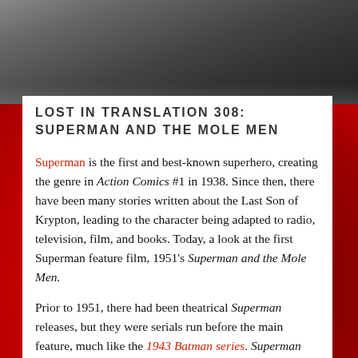[Figure (photo): Black and white photograph of people (Superman-related cast or crew), shown from roughly waist up, partially visible at top of page]
LOST IN TRANSLATION 308: SUPERMAN AND THE MOLE MEN
Superman is the first and best-known superhero, creating the genre in Action Comics #1 in 1938. Since then, there have been many stories written about the Last Son of Krypton, leading to the character being adapted to radio, television, film, and books. Today, a look at the first Superman feature film, 1951's Superman and the Mole Men.
Prior to 1951, there had been theatrical Superman releases, but they were serials run before the main feature, much like the 1943 Batman series. Superman and the Mole Men was a low budget film, not quite running an hour. The movie starred George Reeves as Clark Kent and Superman, Phyllis Coates as Lois Lane, Walter Reed as Bill Corrigan, Ray Walker as John Craig, and Jeff Parry as Luke Benson...